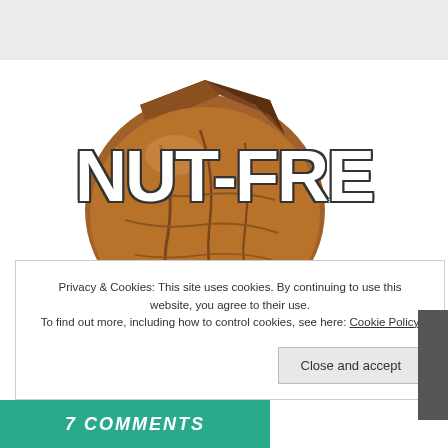[Figure (logo): Nut-Free logo: a brown walnut illustration with large white bold text 'NUT-FRE' overlaid, partially cropped at right edge]
Privacy & Cookies: This site uses cookies. By continuing to use this website, you agree to their use.
To find out more, including how to control cookies, see here: Cookie Policy
Close and accept
7 COMMENTS